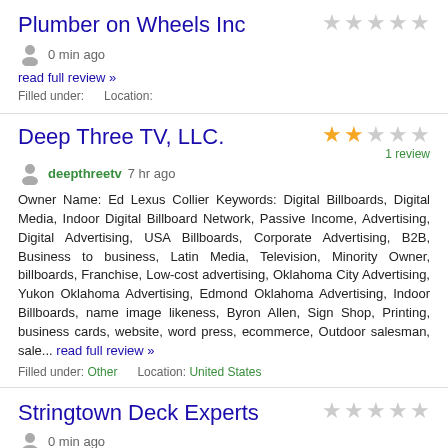Plumber on Wheels Inc
0 min ago
read full review »
Filled under:    Location:
Deep Three TV, LLC.
1 review
deepthreetv  7 hr ago
Owner Name: Ed Lexus Collier Keywords: Digital Billboards, Digital Media, Indoor Digital Billboard Network, Passive Income, Advertising, Digital Advertising, USA Billboards, Corporate Advertising, B2B, Business to business, Latin Media, Television, Minority Owner, billboards, Franchise, Low-cost advertising, Oklahoma City Advertising, Yukon Oklahoma Advertising, Edmond Oklahoma Advertising, Indoor Billboards, name image likeness, Byron Allen, Sign Shop, Printing, business cards, website, word press, ecommerce, Outdoor salesman, sale... read full review »
Filled under: Other    Location: United States
Stringtown Deck Experts
0 min ago